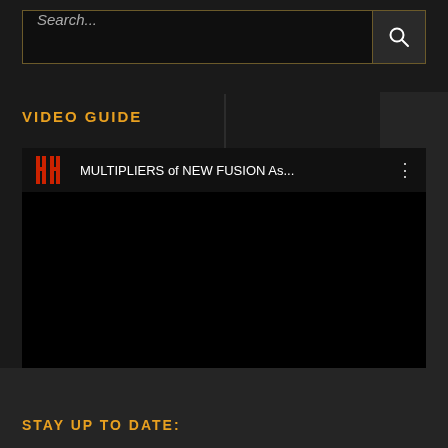Search...
VIDEO GUIDE
[Figure (screenshot): Embedded video player showing 'MULTIPLIERS of NEW FUSION As...' with a red stylized HH logo on the left and a three-dot menu icon on the right. The video content area below is black.]
STAY UP TO DATE: